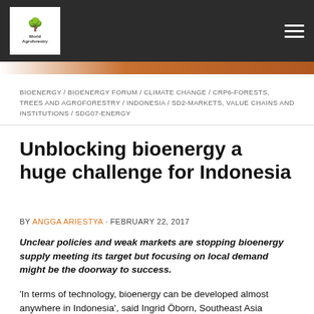[Figure (logo): World Agroforestry logo in white box on dark header bar with hamburger menu icon]
BIOENERGY / BIOENERGY FORUM / CLIMATE CHANGE / CRP6-FORESTS, TREES AND AGROFORESTRY / INDONESIA / SD2-MARKETS, VALUE CHAINS AND INSTITUTIONS / SDG07-ENERGY
Unblocking bioenergy a huge challenge for Indonesia
BY ANGGA ARIESTYA · FEBRUARY 22, 2017
Unclear policies and weak markets are stopping bioenergy supply meeting its target but focusing on local demand might be the doorway to success.
'In terms of technology, bioenergy can be developed almost anywhere in Indonesia', said Ingrid Öborn, Southeast Asia regional coordinator of ICRAF The World Agroforestry Centre, at a bioenergy seminar supported by the Government of Sweden in Jakarta on 15